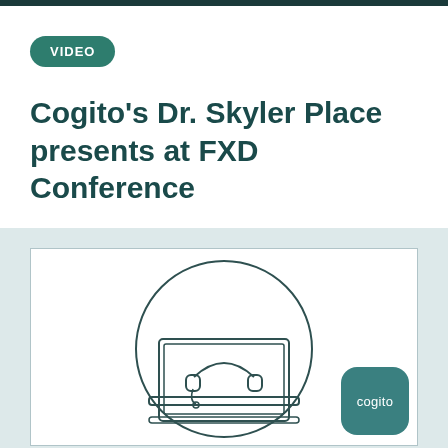VIDEO
Cogito's Dr. Skyler Place presents at FXD Conference
[Figure (illustration): Video thumbnail showing a laptop computer with a headset/headphones icon displayed on screen, inside a circle outline. A 'cogito' branded badge appears in the bottom-right corner. The image is set against a light teal background.]